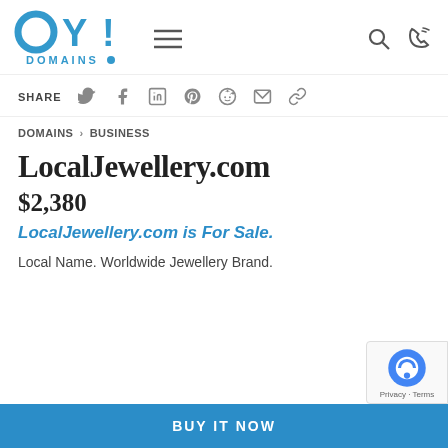[Figure (logo): OY! Domains logo in teal/blue with hamburger menu icon and search/phone icons]
SHARE
[Figure (infographic): Social share icons: Twitter, Facebook, LinkedIn, Pinterest, Reddit, Email, Link]
DOMAINS › BUSINESS
LocalJewellery.com
$2,380
LocalJewellery.com is For Sale.
Local Name. Worldwide Jewellery Brand.
BUY IT NOW